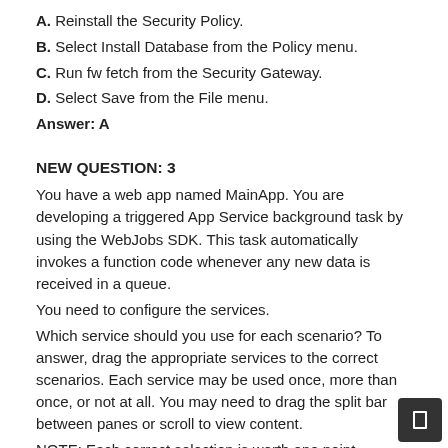A. Reinstall the Security Policy.
B. Select Install Database from the Policy menu.
C. Run fw fetch from the Security Gateway.
D. Select Save from the File menu.
Answer: A
NEW QUESTION: 3
You have a web app named MainApp. You are developing a triggered App Service background task by using the WebJobs SDK. This task automatically invokes a function code whenever any new data is received in a queue.
You need to configure the services.
Which service should you use for each scenario? To answer, drag the appropriate services to the correct scenarios. Each service may be used once, more than once, or not at all. You may need to drag the split bar between panes or scroll to view content.
NOTE: Each correct selection is worth one point.
[Figure (other): Small placeholder image thumbnail at bottom left]